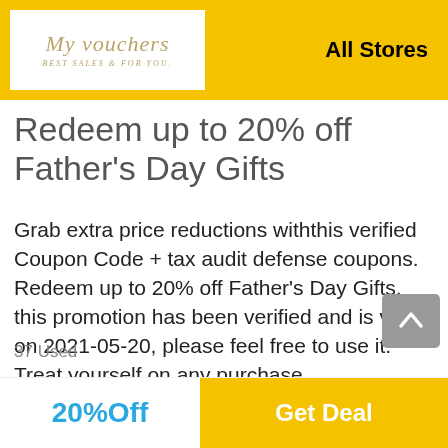My vouchers — Best Sales & for You. All Stores
Redeem up to 20% off Father's Day Gifts
Grab extra price reductions withthis verified Coupon Code + tax audit defense coupons. Redeem up to 20% off Father's Day Gifts, this promotion has been verified and is valid on 2021-05-20, please feel free to use it. Treat yourself on any purchase.
37 Used
20%Off
Get Deal